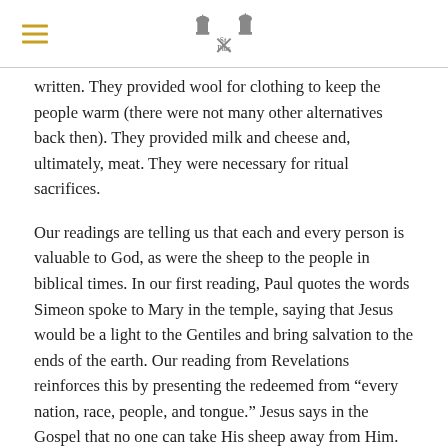St. X Plus logo with hamburger menu
written. They provided wool for clothing to keep the people warm (there were not many other alternatives back then). They provided milk and cheese and, ultimately, meat. They were necessary for ritual sacrifices.
Our readings are telling us that each and every person is valuable to God, as were the sheep to the people in biblical times. In our first reading, Paul quotes the words Simeon spoke to Mary in the temple, saying that Jesus would be a light to the Gentiles and bring salvation to the ends of the earth. Our reading from Revelations reinforces this by presenting the redeemed from “every nation, race, people, and tongue.” Jesus says in the Gospel that no one can take His sheep away from Him.
What we celebrate today is that we are all saved by the blood of the Lamb, each and every person. We just need to listen to His